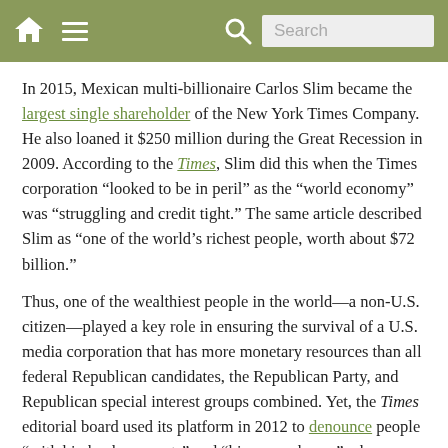Navigation bar with home icon, menu icon, search icon, and search box
In 2015, Mexican multi-billionaire Carlos Slim became the largest single shareholder of the New York Times Company. He also loaned it $250 million during the Great Recession in 2009. According to the Times, Slim did this when the Times corporation “looked to be in peril” as the “world economy” was “struggling and credit tight.” The same article described Slim as “one of the world’s richest people, worth about $72 billion.”
Thus, one of the wealthiest people in the world—a non-U.S. citizen—played a key role in ensuring the survival of a U.S. media corporation that has more monetary resources than all federal Republican candidates, the Republican Party, and Republican special interest groups combined. Yet, the Times editorial board used its platform in 2012 to denounce people “with big bank accounts” and “big megaphones” who “drown